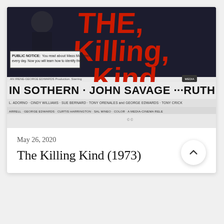[Figure (photo): Movie poster for 'The Killing Kind' (1973) showing title in large red distressed text, a public notice box, and cast credits including Ann Sothern, John Savage, Ruth Roman]
May 26, 2020
The Killing Kind (1973)